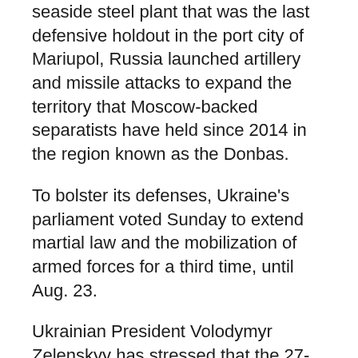seaside steel plant that was the last defensive holdout in the port city of Mariupol, Russia launched artillery and missile attacks to expand the territory that Moscow-backed separatists have held since 2014 in the region known as the Donbas.
To bolster its defenses, Ukraine's parliament voted Sunday to extend martial law and the mobilization of armed forces for a third time, until Aug. 23.
Ukrainian President Volodymyr Zelenskyy has stressed that the 27-member EU should expedite his country's request to join the bloc. Ukraine's potential candidacy is set to be discussed at a Brussels summit in late June.